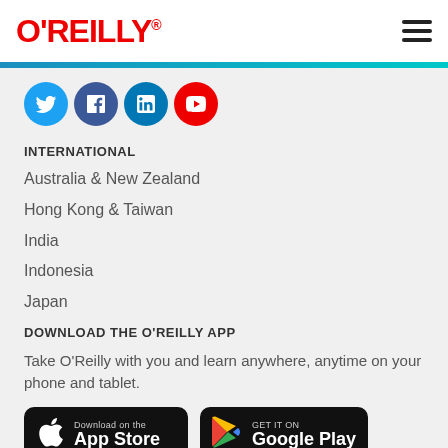O'REILLY
[Figure (illustration): Social media icons: Twitter (blue bird), Facebook (blue f), LinkedIn (blue in), YouTube (red play button)]
INTERNATIONAL
Australia & New Zealand
Hong Kong & Taiwan
India
Indonesia
Japan
DOWNLOAD THE O'REILLY APP
Take O'Reilly with you and learn anywhere, anytime on your phone and tablet.
[Figure (illustration): App Store and Google Play download badges]